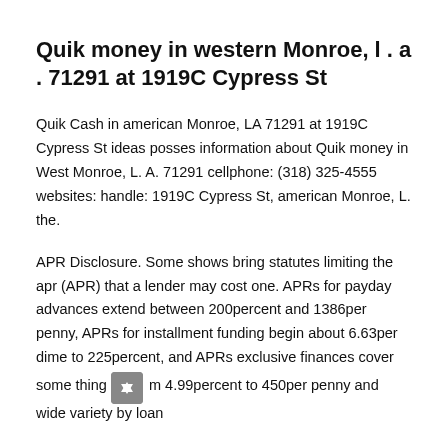Quik money in western Monroe, l . a . 71291 at 1919C Cypress St
Quik Cash in american Monroe, LA 71291 at 1919C Cypress St ideas posses information about Quik money in West Monroe, L. A. 71291 cellphone: (318) 325-4555 websites: handle: 1919C Cypress St, american Monroe, L. the.
APR Disclosure. Some shows bring statutes limiting the apr (APR) that a lender may cost one. APRs for payday advances extend between 200percent and 1386per penny, APRs for installment funding begin about 6.63per dime to 225percent, and APRs exclusive finances cover some thing from 4.99percent to 450per penny and wide variety by loan